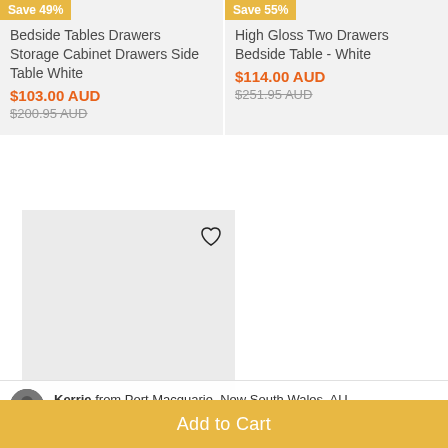Save 49%
Bedside Tables Drawers Storage Cabinet Drawers Side Table White
$103.00 AUD
$200.95 AUD
Save 55%
High Gloss Two Drawers Bedside Table - White
$114.00 AUD
$251.95 AUD
[Figure (other): Large light grey product image placeholder with heart icon in top right corner]
Save 33%
Kerrie from Port Macquarie, New South Wales, AU
Add to Cart